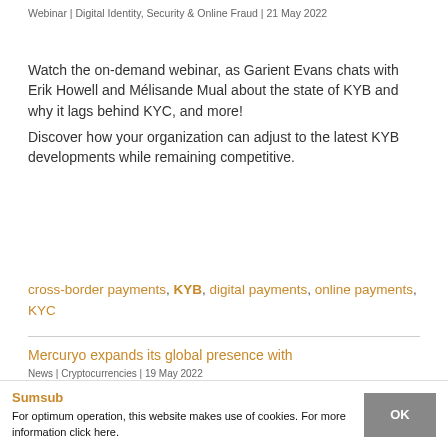Webinar | Digital Identity, Security & Online Fraud | 21 May 2022
Watch the on-demand webinar, as Garient Evans chats with Erik Howell and Mélisande Mual about the state of KYB and why it lags behind KYC, and more! Discover how your organization can adjust to the latest KYB developments while remaining competitive.
cross-border payments, KYB, digital payments, online payments, KYC
Mercuryo expands its global presence with
Sumsub
News | Cryptocurrencies | 19 May 2022
For optimum operation, this website makes use of cookies. For more information click here.